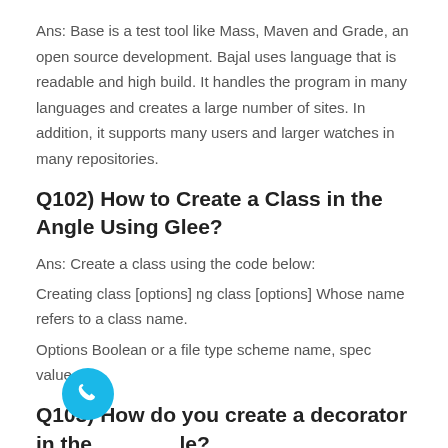Ans: Base is a test tool like Mass, Maven and Grade, an open source development. Bajal uses language that is readable and high build. It handles the program in many languages and creates a large number of sites. In addition, it supports many users and larger watches in many repositories.
Q102) How to Create a Class in the Angle Using Glee?
Ans: Create a class using the code below:
Creating class [options] ng class [options] Whose name refers to a class name.
Options Boolean or a file type scheme name, spec value.
Q103) How do you create a decorator in the angle?
Ans: There are two ways to record designers in angles.